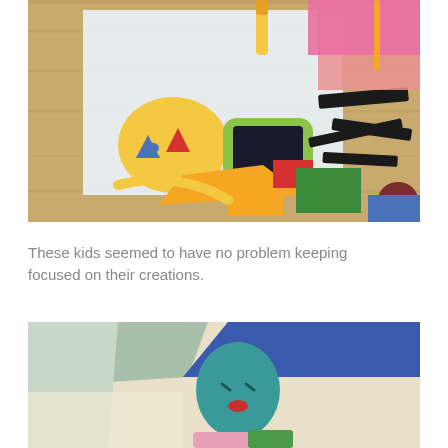[Figure (photo): A child's hands working on a colorful paper collage art project on a wooden desk. Colorful cut paper shapes including a face, black rectangles, and various geometric shapes are visible on white paper.]
These kids seemed to have no problem keeping focused on their creations.
[Figure (photo): A close-up of a colorful paper collage artwork showing a figure with a teal face with small facial features, red lips, pink and green body, against a background with a large blue diagonal shape and light green/grey paper.]